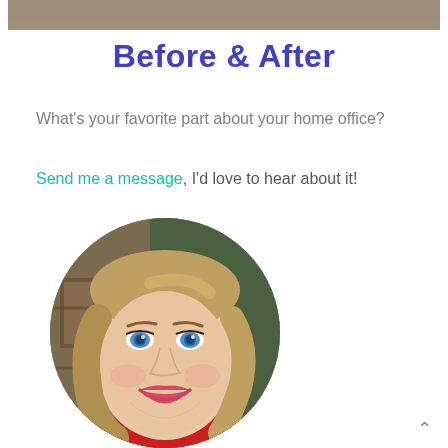[Figure (photo): Partial photo strip at the top of the page showing cropped images]
Before & After
What's your favorite part about your home office?
Send me a message, I'd love to hear about it!
[Figure (photo): Circular portrait photo of a smiling woman with blonde hair and blue eyes wearing a red top, in a home office setting]